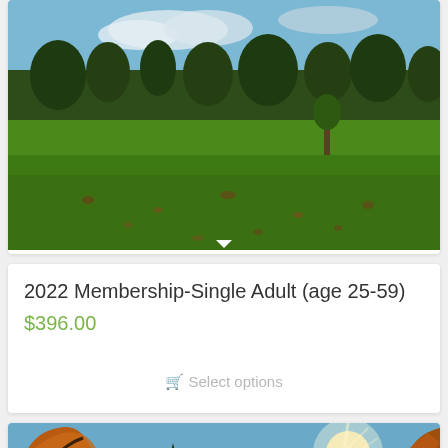[Figure (photo): Outdoor golf course or park landscape photo showing green grass field with trees in the background under a partly cloudy sky, with fallen leaves on the ground]
2022 Membership-Single Adult (age 25-59)
$396.00
Select options
[Figure (photo): Looking up through autumn trees with colorful orange and brown foliage against a blue sky with sunlight streaming through the branches]